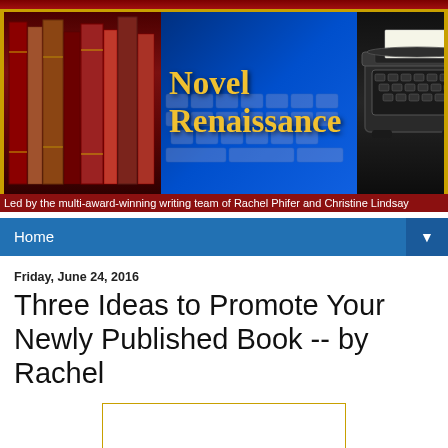[Figure (illustration): Novel Renaissance blog header banner with books, blue keyboard background showing 'Novel Renaissance' text in gold, manuscript/handwriting section with italic text '...a movement a revival of vigorous exercise of intellectual activity', and vintage typewriter on dark background]
Led by the multi-award-winning writing team of Rachel Phifer and Christine Lindsay
Home
Friday, June 24, 2016
Three Ideas to Promote Your Newly Published Book -- by Rachel
[Figure (photo): Empty white image placeholder with gold/yellow border]